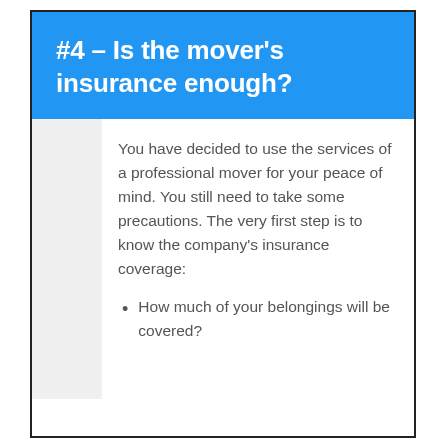#4 – Is the mover's insurance enough?
You have decided to use the services of a professional mover for your peace of mind. You still need to take some precautions. The very first step is to know the company's insurance coverage:
How much of your belongings will be covered?